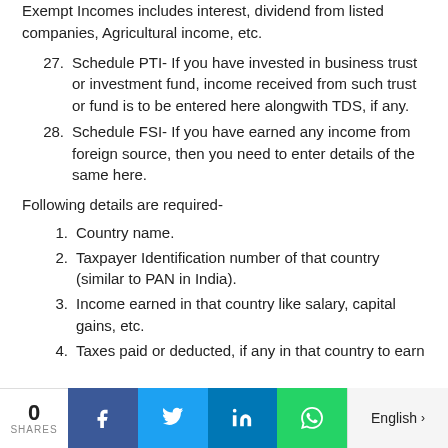Exempt Incomes includes interest, dividend from listed companies, Agricultural income, etc.
27. Schedule PTI- If you have invested in business trust or investment fund, income received from such trust or fund is to be entered here alongwith TDS, if any.
28. Schedule FSI- If you have earned any income from foreign source, then you need to enter details of the same here.
Following details are required-
1. Country name.
2. Taxpayer Identification number of that country (similar to PAN in India).
3. Income earned in that country like salary, capital gains, etc.
4. Taxes paid or deducted, if any in that country to earn